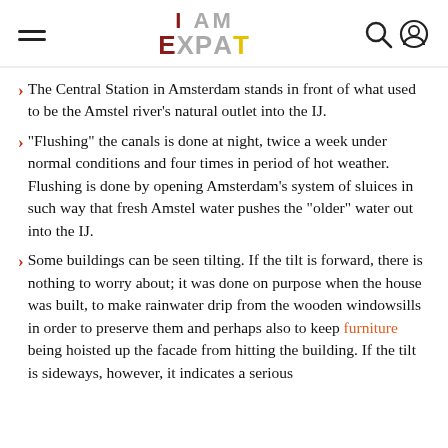I AM EXPAT
The Central Station in Amsterdam stands in front of what used to be the Amstel river's natural outlet into the IJ.
"Flushing" the canals is done at night, twice a week under normal conditions and four times in period of hot weather. Flushing is done by opening Amsterdam's system of sluices in such way that fresh Amstel water pushes the "older" water out into the IJ.
Some buildings can be seen tilting. If the tilt is forward, there is nothing to worry about; it was done on purpose when the house was built, to make rainwater drip from the wooden windowsills in order to preserve them and perhaps also to keep furniture being hoisted up the facade from hitting the building. If the tilt is sideways, however, it indicates a serious